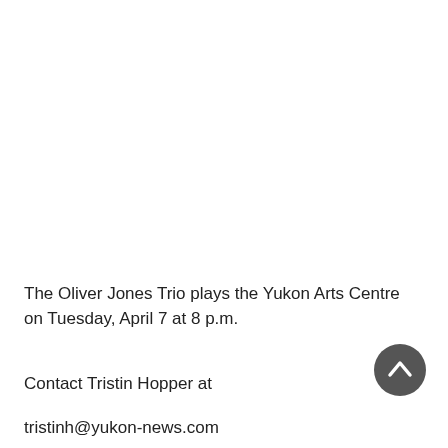The Oliver Jones Trio plays the Yukon Arts Centre on Tuesday, April 7 at 8 p.m.
Contact Tristin Hopper at
tristinh@yukon-news.com
[Figure (other): Dark grey circular scroll-to-top button with an upward-pointing chevron arrow in white]